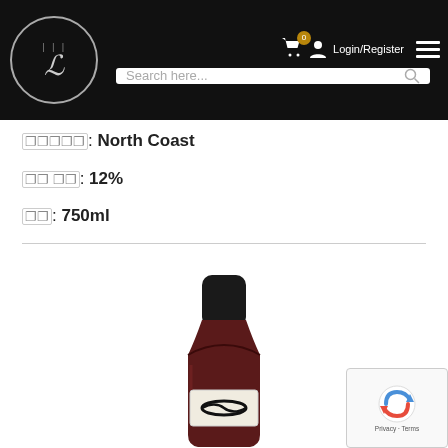[Figure (screenshot): Website header/navigation bar with logo (stylized D with flames in circle), search bar, cart icon with badge 0, user icon, Login/Register text, and hamburger menu on black background]
🀰🀰🀰🀰🀰: North Coast
🀰🀰 🀰🀰: 12%
🀰🀰: 750ml
[Figure (photo): Wine bottle with dark/black top capsule, dark red wine body, white label with stylized black logo mark, photographed on white background]
[Figure (logo): reCAPTCHA badge with blue/red arrow logo and Privacy / Terms text]